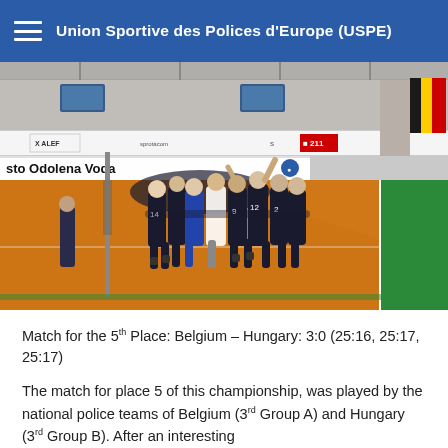Union Sportive des Polices d'Europe (USPE)
[Figure (photo): Indoor volleyball hall with team players huddled together on an orange court. Sponsors banners visible along the wall including 'X ALEF', '211', and others. Venue banner reads 'sto Odolena Voda'. Belgian flag visible in top right corner.]
Match for the 5th Place: Belgium – Hungary: 3:0 (25:16, 25:17, 25:17)
The match for place 5 of this championship, was played by the national police teams of Belgium (3rd Group A) and Hungary (3rd Group B). After an interesting